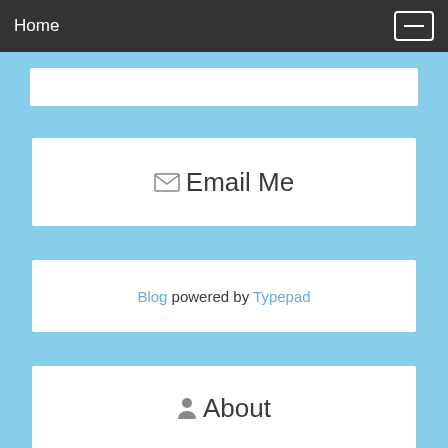Home
[Figure (screenshot): Partial white card/box clipped at top of page]
✉ Email Me
Blog powered by Typepad
👤 About